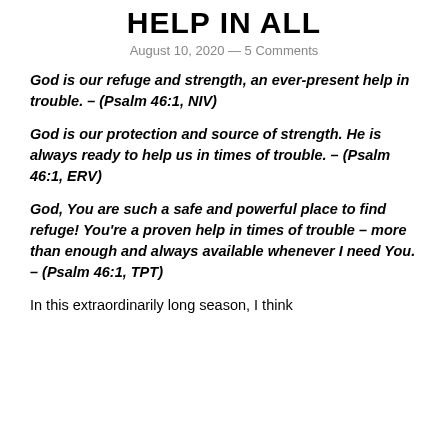HELP IN ALL
August 10, 2020 — 5 Comments
God is our refuge and strength, an ever-present help in trouble. – (Psalm 46:1, NIV)
God is our protection and source of strength. He is always ready to help us in times of trouble. – (Psalm 46:1, ERV)
God, You are such a safe and powerful place to find refuge! You're a proven help in times of trouble – more than enough and always available whenever I need You. – (Psalm 46:1, TPT)
In this extraordinarily long season, I think